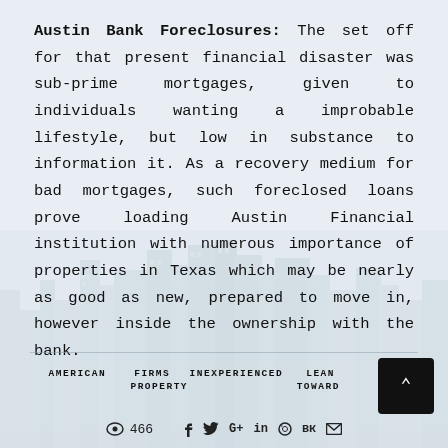Austin Bank Foreclosures: The set off for that present financial disaster was sub-prime mortgages, given to individuals wanting a improbable lifestyle, but low in substance to information it. As a recovery medium for bad mortgages, such foreclosed loans prove loading Austin Financial institution with numerous importance of properties in Texas which may be nearly as good as new, prepared to move in, however inside the ownership with the bank.
[Figure (illustration): Faint cityscape/skyline silhouette background image in light blue-grey tones]
AMERICAN   FIRMS   INEXPERIENCED   LEAN   PROPERTY   TOWARD
👁 466   f  𝕏  G+  in  ⓟ  вк  ✉